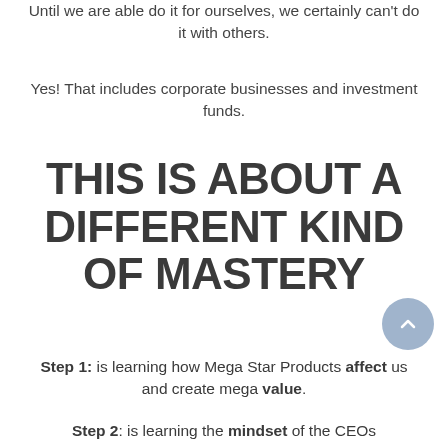Until we are able do it for ourselves, we certainly can't do it with others.
Yes! That includes corporate businesses and investment funds.
THIS IS ABOUT A DIFFERENT KIND OF MASTERY
Step 1: is learning how Mega Star Products affect us and create mega value.
Step 2: is learning the mindset of the CEOs